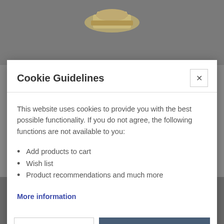[Figure (photo): Top background showing a metallic hardware component (nut/fitting) partially visible against a dark grey background]
Cookie Guidelines
This website uses cookies to provide you with the best possible functionality. If you do not agree, the following functions are not available to you:
Add products to cart
Wish list
Product recommendations and much more
More information
[Figure (photo): Bottom background showing a dark metallic hardware component (screw/fitting) partially visible against a dark grey background]